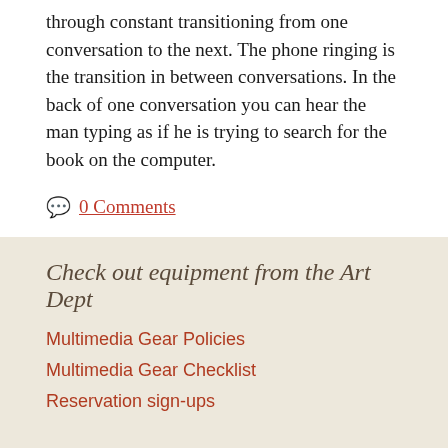through constant transitioning from one conversation to the next. The phone ringing is the transition in between conversations. In the back of one conversation you can hear the man typing as if he is trying to search for the book on the computer.
0 Comments
Check out equipment from the Art Dept
Multimedia Gear Policies
Multimedia Gear Checklist
Reservation sign-ups
Proudly powered by WordPress